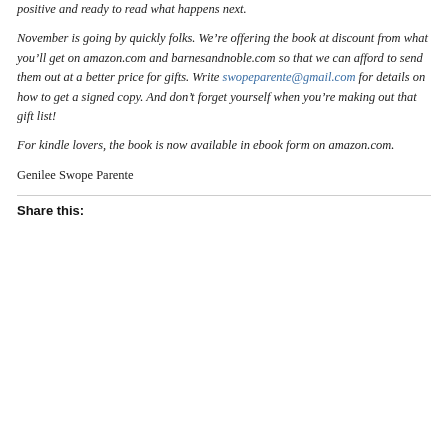positive and ready to read what happens next.
November is going by quickly folks. We’re offering the book at discount from what you’ll get on amazon.com and barnesandnoble.com so that we can afford to send them out at a better price for gifts. Write swopeparente@gmail.com for details on how to get a signed copy. And don’t forget yourself when you’re making out that gift list!
For kindle lovers, the book is now available in ebook form on amazon.com.
Genilee Swope Parente
Share this: